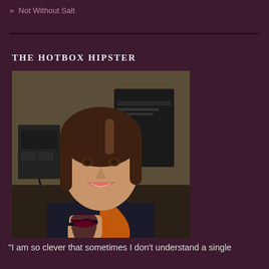» Not Without Salt
THE HOTBOX HIPSTER
[Figure (photo): A woman with shoulder-length brown hair, smiling, wearing a dark turtleneck and an orange scarf, holding a glass of red wine. She is photographed indoors against a background with audio/electronic equipment.]
"I am so clever that sometimes I don't understand a single